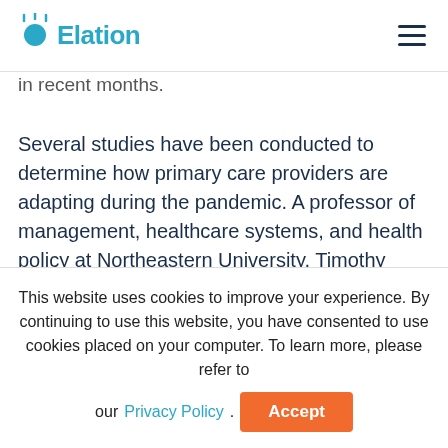Elation
in recent months.
Several studies have been conducted to determine how primary care providers are adapting during the pandemic. A professor of management, healthcare systems, and health policy at Northeastern University, Timothy Hoff, has been following doctors in New York to study how they've adapted to their new reality. New York has been one of the hardest-hit
This website uses cookies to improve your experience. By continuing to use this website, you have consented to use cookies placed on your computer. To learn more, please refer to our Privacy Policy.